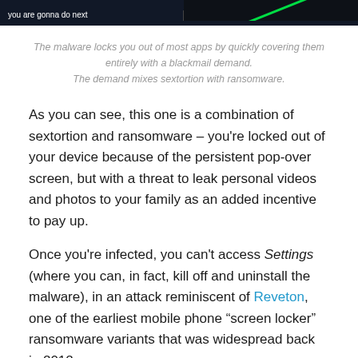[Figure (screenshot): Dark screenshot showing malware screen with text 'you are gonna do next' on the left panel and a green diagonal line on the right dark panel]
The malware locks you out of most apps by quickly covering them entirely with a blackmail demand.
The demand mixes sextortion with ransomware.
As you can see, this one is a combination of sextortion and ransomware – you're locked out of your device because of the persistent pop-over screen, but with a threat to leak personal videos and photos to your family as an added incentive to pay up.
Once you're infected, you can't access Settings (where you can, in fact, kill off and uninstall the malware), in an attack reminiscent of Reveton, one of the earliest mobile phone “screen locker” ransomware variants that was widespread back in 2012.